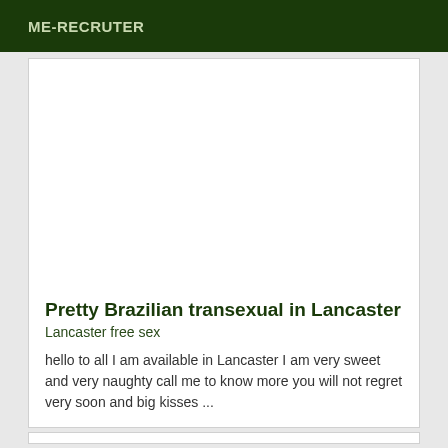ME-RECRUTER
[Figure (photo): Large blank white image area within a card]
Pretty Brazilian transexual in Lancaster
Lancaster free sex
hello to all I am available in Lancaster I am very sweet and very naughty call me to know more you will not regret very soon and big kisses ...